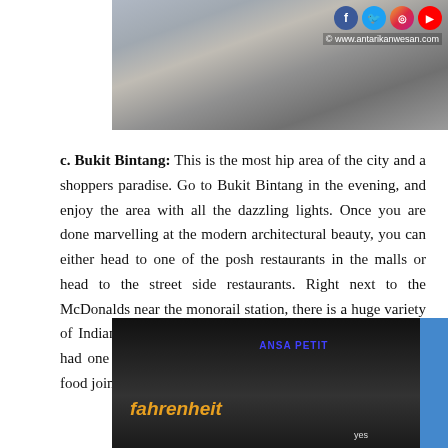[Figure (photo): Street scene with cars in traffic, top of page]
c. Bukit Bintang: This is the most hip area of the city and a shoppers paradise. Go to Bukit Bintang in the evening, and enjoy the area with all the dazzling lights. Once you are done marvelling at the modern architectural beauty, you can either head to one of the posh restaurants in the malls or head to the street side restaurants. Right next to the McDonalds near the monorail station, there is a huge variety of Indian, Pakistani and Middle Eastern food restaurants. I had one of the best chicken shawarmas in a Lebanese fast food joint here.
[Figure (photo): Night scene of Bukit Bintang with Fahrenheit and Ansa hotel signs visible]